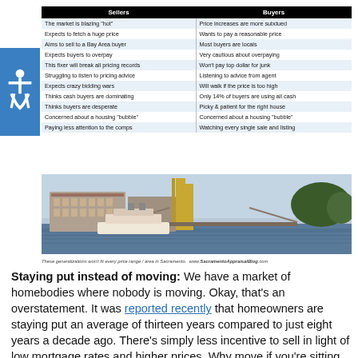| Sellers | Buyers |
| --- | --- |
| The market is blazing "hot" | Price increases are more subdued |
| Expects to fetch a huge price | Wants to pay a reasonable price |
| Aims to sell to a Bay Area buyer | Most buyers are locals |
| Expects buyers to overpay | Very cautious about overpaying |
| This fixer will break all pricing records | Won't pay top dollar for junk |
| Struggling to listen to pricing advice | Listening to advice from agent |
| Expects crazy bidding wars | Will walk if the price is too high |
| Thinks cash buyers are dominating | Only 14% of buyers are using all cash |
| Thinks buyers are desperate | Picky & patient for the right house |
| Concerned about a housing "bubble" | Concerned about a housing "bubble" |
| Paying less attention to the comps | Watching every single sale and listing |
[Figure (photo): Photo of Sacramento waterfront with buildings, a riverboat, and a bridge visible]
These generalizations won't fit every price range / area in Sacramento.  www.SacramentoAppraisalBlog.com
Staying put instead of moving: We have a market of homebodies where nobody is moving. Okay, that's an overstatement. It was reported recently that homeowners are staying put an average of thirteen years compared to just eight years a decade ago. There's simply less incentive to sell in light of low mortgage rates and higher prices. Why move if you're sitting pretty? This of course is